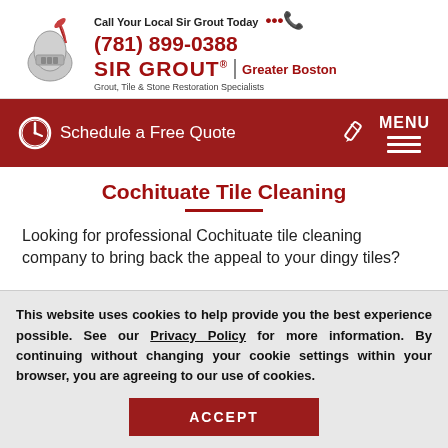[Figure (logo): Sir Grout knight logo with quill and helmet illustration]
Call Your Local Sir Grout Today (781) 899-0388 | SIR GROUT® Greater Boston | Grout, Tile & Stone Restoration Specialists
[Figure (infographic): Dark red navigation bar with clock icon, 'Schedule a Free Quote' text, pencil icon, and MENU with three horizontal lines]
Cochituate Tile Cleaning
Looking for professional Cochituate tile cleaning company to bring back the appeal to your dingy tiles?
This website uses cookies to help provide you the best experience possible. See our Privacy Policy for more information. By continuing without changing your cookie settings within your browser, you are agreeing to our use of cookies.
ACCEPT